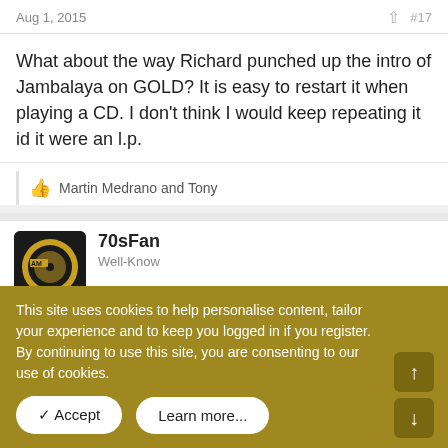Aug 1, 2015
#17
What about the way Richard punched up the intro of Jambalaya on GOLD? It is easy to restart it when playing a CD. I don't think I would keep repeating it id it were an l.p.
👍 Martin Medrano and Tony
70sFan
Well-Know
We've had to change a few server modules to alleviate forum errors we've been having. Work is mostly done but there may still be a few remaining issues. If you encounter an error, try reloading the forum page.
Aug 1, 2015
This site uses cookies to help personalise content, tailor your experience and to keep you logged in if you register.
By continuing to use this site, you are consenting to our use of cookies.
✓ Accept
Learn more...